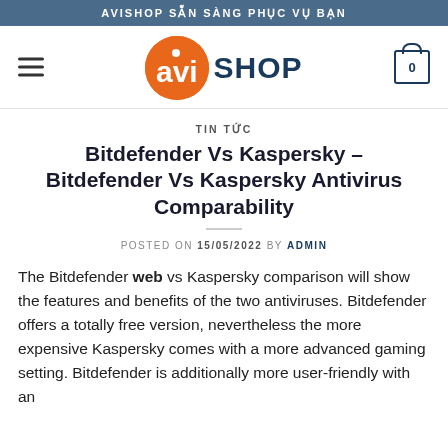AVISHOP SẴN SÀNG PHỤC VỤ BẠN
[Figure (logo): aviSHOP logo: orange circle with 'avi' text and white dot above 'i', followed by bold dark blue 'SHOP' text]
TIN TỨC
Bitdefender Vs Kaspersky – Bitdefender Vs Kaspersky Antivirus Comparability
POSTED ON 15/05/2022 BY ADMIN
The Bitdefender web vs Kaspersky comparison will show the features and benefits of the two antiviruses. Bitdefender offers a totally free version, nevertheless the more expensive Kaspersky comes with a more advanced gaming setting. Bitdefender is additionally more user-friendly with an